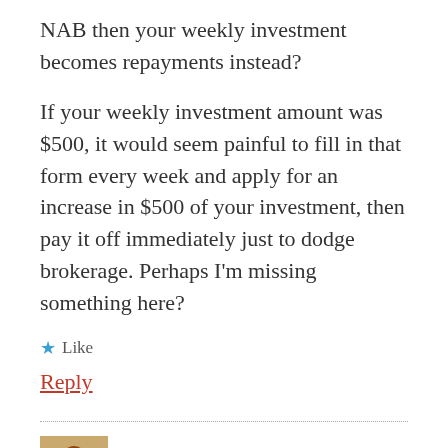NAB then your weekly investment becomes repayments instead?
If your weekly investment amount was $500, it would seem painful to fill in that form every week and apply for an increase in $500 of your investment, then pay it off immediately just to dodge brokerage. Perhaps I'm missing something here?
★ Like
Reply
Prometheus Dreaming says: